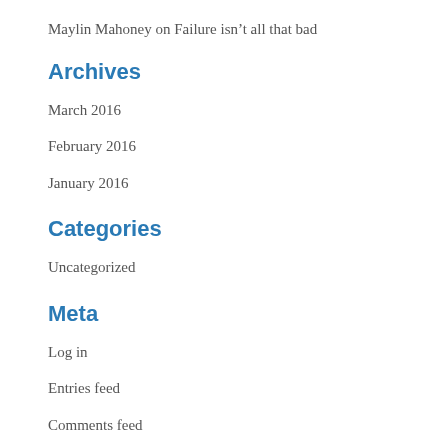Maylin Mahoney on Failure isn't all that bad
Archives
March 2016
February 2016
January 2016
Categories
Uncategorized
Meta
Log in
Entries feed
Comments feed
WordPress.org